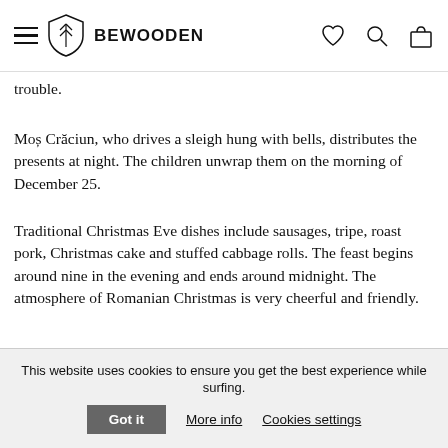BEWOODEN
trouble.
Moș Crăciun, who drives a sleigh hung with bells, distributes the presents at night. The children unwrap them on the morning of December 25.
Traditional Christmas Eve dishes include sausages, tripe, roast pork, Christmas cake and stuffed cabbage rolls. The feast begins around nine in the evening and ends around midnight. The atmosphere of Romanian Christmas is very cheerful and friendly.
[Figure (photo): Slices of raw pork meat on a wooden cutting board with peppercorns]
This website uses cookies to ensure you get the best experience while surfing.
Got it   More info   Cookies settings